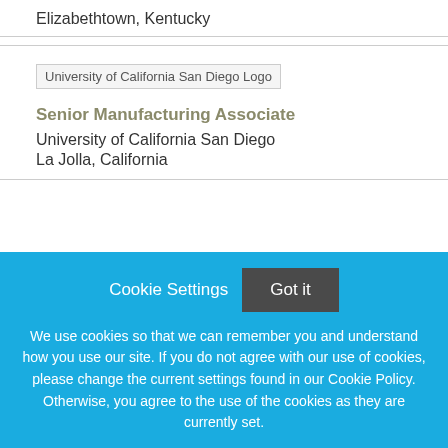Elizabethtown, Kentucky
[Figure (logo): University of California San Diego Logo]
Senior Manufacturing Associate
University of California San Diego
La Jolla, California
Cookie Settings
Got it
We use cookies so that we can remember you and understand how you use our site. If you do not agree with our use of cookies, please change the current settings found in our Cookie Policy. Otherwise, you agree to the use of the cookies as they are currently set.